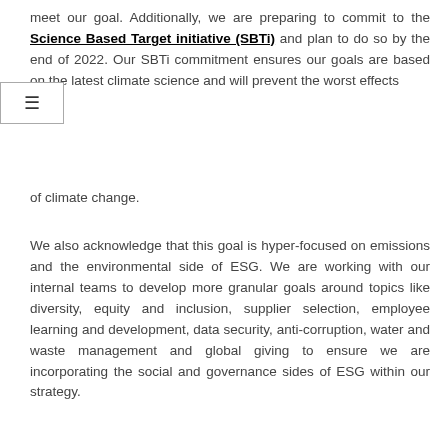meet our goal. Additionally, we are preparing to commit to the Science Based Target initiative (SBTi) and plan to do so by the end of 2022. Our SBTi commitment ensures our goals are based on the latest climate science and will prevent the worst effects
of climate change.
We also acknowledge that this goal is hyper-focused on emissions and the environmental side of ESG. We are working with our internal teams to develop more granular goals around topics like diversity, equity and inclusion, supplier selection, employee learning and development, data security, anti-corruption, water and waste management and global giving to ensure we are incorporating the social and governance sides of ESG within our strategy.